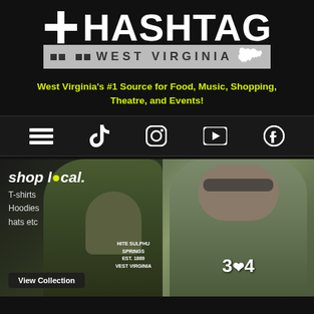[Figure (logo): Hashtag West Virginia logo with large white HASHTAG text and WEST VIRGINIA subtitle on dark background with state map silhouette]
West Virginia's #1 Source for Food, Music, Shopping, Theatre, and Events!
[Figure (infographic): Navigation bar with hamburger menu, TikTok, Instagram, YouTube, and Facebook icons on dark background]
[Figure (photo): Shop local section showing man wearing White Sulphur Springs West Virginia t-shirt with shop local text overlay, T-shirts Hoodies hats etc, and View Collection button. Right side shows woman wearing 304 West Virginia t-shirt with sunglasses.]